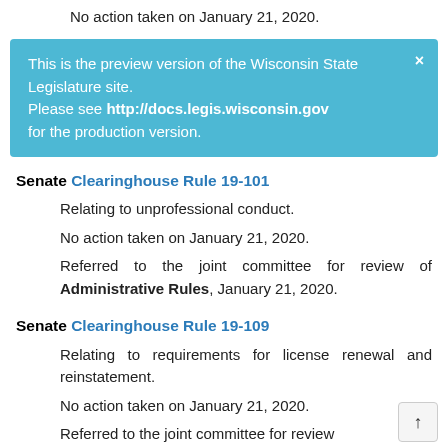No action taken on January 21, 2020.
[Figure (infographic): Light blue banner overlay: 'This is the preview version of the Wisconsin State Legislature site. Please see http://docs.legis.wisconsin.gov for the production version.' with a close (×) button.]
Senate Clearinghouse Rule 19-101
Relating to unprofessional conduct.
No action taken on January 21, 2020.
Referred to the joint committee for review of Administrative Rules, January 21, 2020.
Senate Clearinghouse Rule 19-109
Relating to requirements for license renewal and reinstatement.
No action taken on January 21, 2020.
Referred to the joint committee for review of